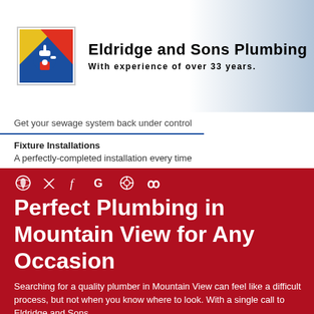[Figure (logo): Eldridge and Sons Plumbing logo with colorful faucet icon]
Eldridge and Sons Plumbing
With experience of over 33 years.
Get your sewage system back under control
Fixture Installations
A perfectly-completed installation every time
Perfect Plumbing in Mountain View for Any Occasion
Searching for a quality plumber in Mountain View can feel like a difficult process, but not when you know where to look. With a single call to Eldridge and Sons